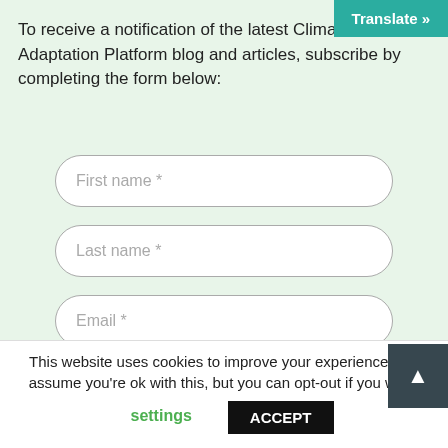[Figure (screenshot): Translate button in teal color at top right corner]
To receive a notification of the latest Climate Adaptation Platform blog and articles, subscribe by completing the form below:
[Figure (screenshot): Form input field with placeholder text 'First name *']
[Figure (screenshot): Form input field with placeholder text 'Last name *']
[Figure (screenshot): Form input field with placeholder text 'Email *']
This website uses cookies to improve your experience. We assume you're ok with this, but you can opt-out if you wish.
settings
ACCEPT